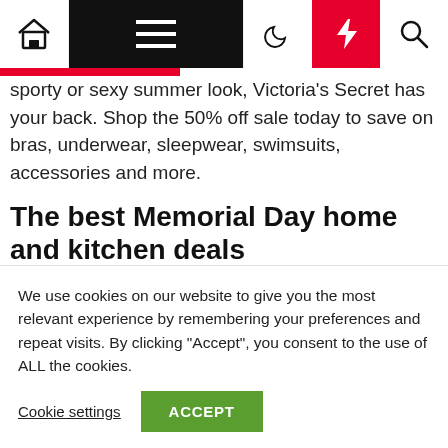Navigation bar with home, menu, moon, bolt, and search icons
sporty or sexy summer look, Victoria's Secret has your back. Shop the 50% off sale today to save on bras, underwear, sleepwear, swimsuits, accessories and more.
The best Memorial Day home and kitchen deals
Furnish your home with serious savings this
We use cookies on our website to give you the most relevant experience by remembering your preferences and repeat visits. By clicking "Accept", you consent to the use of ALL the cookies.
Cookie settings  ACCEPT